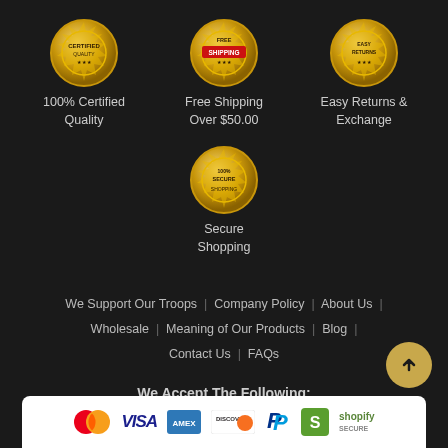[Figure (illustration): Gold certified quality badge seal icon]
100% Certified Quality
[Figure (illustration): Free shipping badge seal icon]
Free Shipping Over $50.00
[Figure (illustration): Easy Returns badge seal icon]
Easy Returns & Exchange
[Figure (illustration): 100% Secure Shopping badge seal icon]
Secure Shopping
We Support Our Troops | Company Policy | About Us | Wholesale | Meaning of Our Products | Blog | Contact Us | FAQs
We Accept The Following:
[Figure (illustration): Payment logos: MasterCard, Visa, American Express, Discover, PayPal, Shopify Secure]